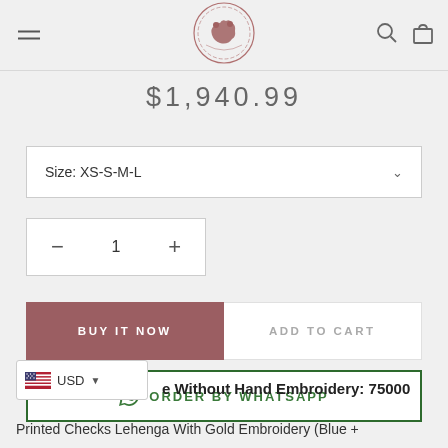Navigation header with hamburger menu, logo, search and cart icons
$1,940.99
Size: XS-S-M-L
- 1 +
BUY IT NOW
ADD TO CART
ORDER BY WHATSAPP
e Without Hand Embroidery: 75000
Printed Checks Lehenga With Gold Embroidery (Blue +